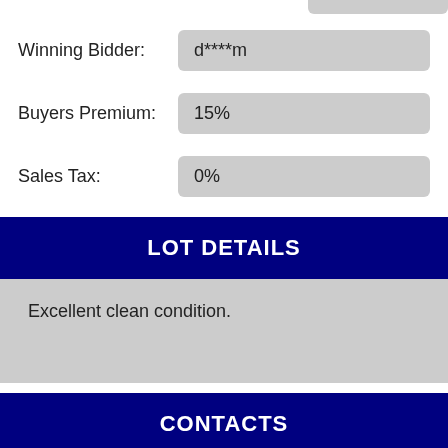Winning Bidder: d****m
Buyers Premium: 15%
Sales Tax: 0%
LOT DETAILS
Excellent clean condition.
CONTACTS
Wade Baer   +13304242705   Wade@BaerAuctions.